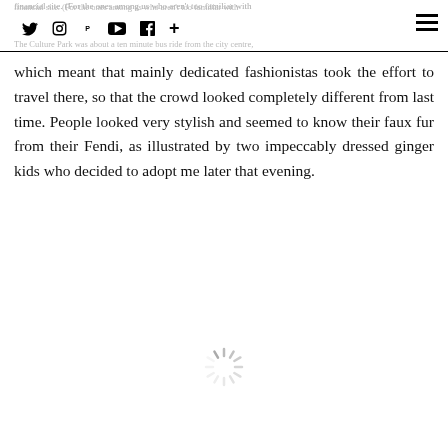financial site. (For the ones among us who aren't too familiar with [social icons] ...actually means 'Western Gas Fac... The Culture Park was about a ten minute bus ride from the city centre,
which meant that mainly dedicated fashionistas took the effort to travel there, so that the crowd looked completely different from last time. People looked very stylish and seemed to know their faux fur from their Fendi, as illustrated by two impeccably dressed ginger kids who decided to adopt me later that evening.
[Figure (other): Loading spinner / activity indicator graphic centered near the bottom of the page]